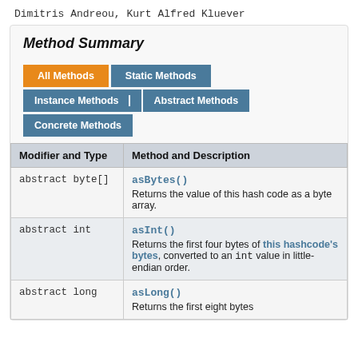Dimitris Andreou, Kurt Alfred Kluever
Method Summary
| Modifier and Type | Method and Description |
| --- | --- |
| abstract byte[] | asBytes()
Returns the value of this hash code as a byte array. |
| abstract int | asInt()
Returns the first four bytes of this hashcode's bytes, converted to an int value in little-endian order. |
| abstract long | asLong()
Returns the first eight bytes... |